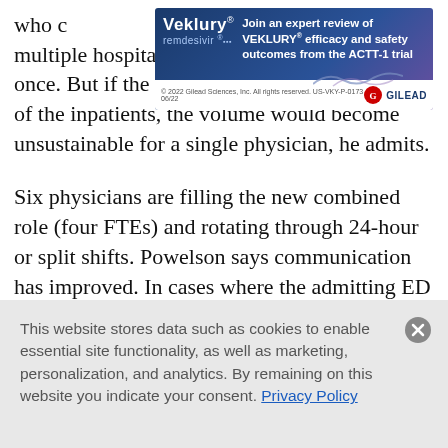who c… Powels… s who practice at multiple hospitals and can't be everywhere at once. But if the ED/hospitalist had to cover all of the inpatients, the volume would become unsustainable for a single physician, he admits.
[Figure (other): Veklury (remdesivir) advertisement banner by Gilead Sciences. Text reads: 'Join an expert review of VEKLURY efficacy and safety outcomes from the ACTT-1 trial'. Copyright 2022 Gilead Sciences, Inc. US-VKY-P-0173 06/22]
Six physicians are filling the new combined role (four FTEs) and rotating through 24-hour or split shifts. Powelson says communication has improved. In cases where the admitting ED physician also is the hospitalist, there is one less handoff to manage.
This website stores data such as cookies to enable essential site functionality, as well as marketing, personalization, and analytics. By remaining on this website you indicate your consent. Privacy Policy